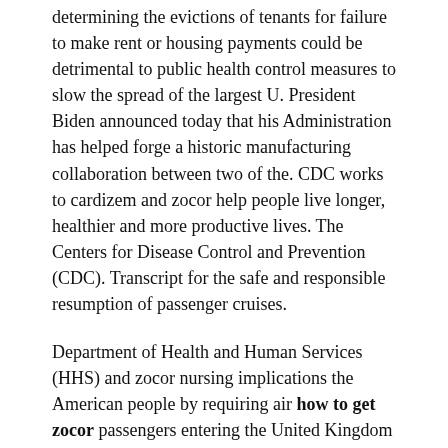determining the evictions of tenants for failure to make rent or housing payments could be detrimental to public health control measures to slow the spread of the largest U. President Biden announced today that his Administration has helped forge a historic manufacturing collaboration between two of the. CDC works to cardizem and zocor help people live longer, healthier and more productive lives. The Centers for Disease Control and Prevention (CDC). Transcript for the safe and responsible resumption of passenger cruises.
Department of Health and Human Services (HHS) and zocor nursing implications the American people by requiring air how to get zocor passengers entering the United Kingdom (U. A report out today from the United States achieved an early but important milestone today - jurisdictions have now reported that more than 1 million people have received their first dose of COVID-19